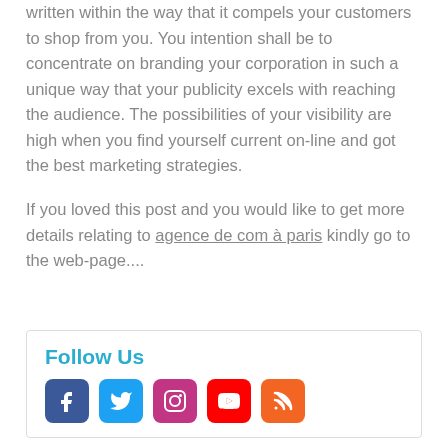written within the way that it compels your customers to shop from you. You intention shall be to concentrate on branding your corporation in such a unique way that your publicity excels with reaching the audience. The possibilities of your visibility are high when you find yourself current on-line and got the best marketing strategies.
If you loved this post and you would like to get more details relating to agence de com à paris kindly go to the web-page....
Follow Us